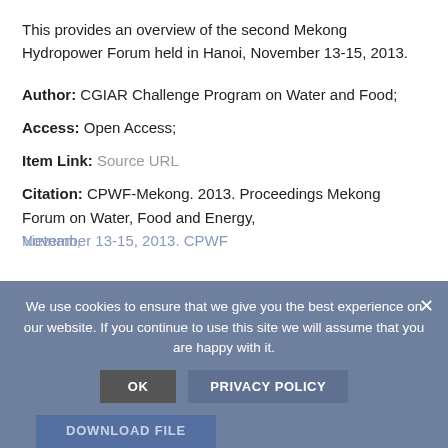This provides an overview of the second Mekong Hydropower Forum held in Hanoi, November 13-15, 2013.
Author: CGIAR Challenge Program on Water and Food;
Access: Open Access;
Item Link: Source URL
Citation: CPWF-Mekong. 2013. Proceedings Mekong Forum on Water, Food and Energy, November 13-15, 2013. CPWF
We use cookies to ensure that we give you the best experience on our website. If you continue to use this site we will assume that you are happy with it.
OK   PRIVACY POLICY
DOWNLOAD FILE